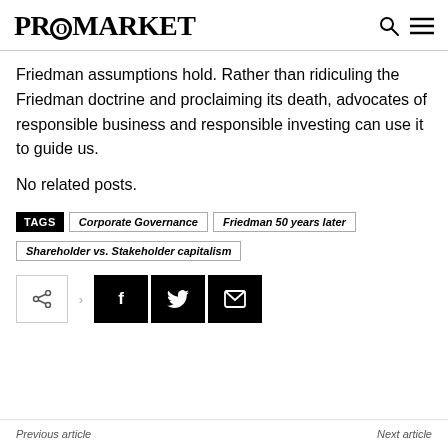PROMARKET
Friedman assumptions hold. Rather than ridiculing the Friedman doctrine and proclaiming its death, advocates of responsible business and responsible investing can use it to guide us.
No related posts.
TAGS   Corporate Governance   Friedman 50 years later   Shareholder vs. Stakeholder capitalism
Previous article   Next article